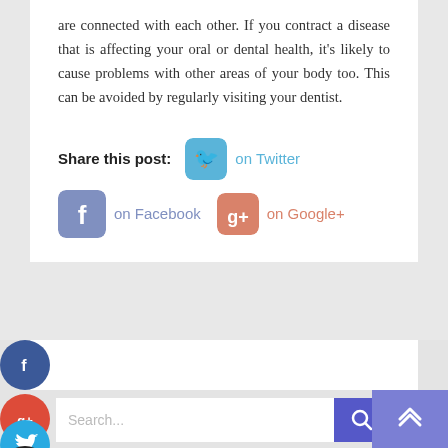are connected with each other. If you contract a disease that is affecting your oral or dental health, it's likely to cause problems with other areas of your body too. This can be avoided by regularly visiting your dentist.
Share this post:   on Twitter   on Facebook   on Google+
[Figure (infographic): Social sharing icons: Twitter (blue rounded square), Facebook (purple/blue rounded square), Google+ (salmon/orange rounded square), with colored text links 'on Twitter', 'on Facebook', 'on Google+']
[Figure (infographic): Floating side social media circular buttons: Facebook (dark blue), Google+ (red), Twitter (light blue), Plus/more (dark)]
[Figure (infographic): Search bar with placeholder 'Search...' and blue search button with magnifying glass icon, and back-to-top button with chevrons]